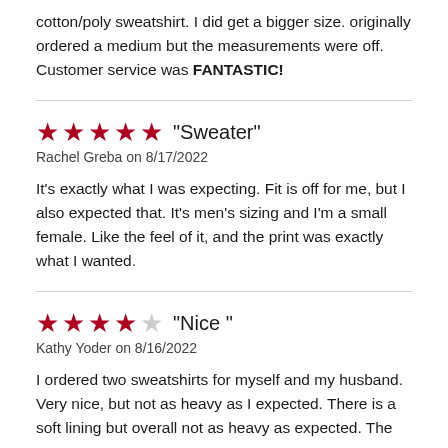cotton/poly sweatshirt. I did get a bigger size. originally ordered a medium but the measurements were off. Customer service was FANTASTIC!
"Sweater"
Rachel Greba on 8/17/2022

It's exactly what I was expecting. Fit is off for me, but I also expected that. It's men's sizing and I'm a small female. Like the feel of it, and the print was exactly what I wanted.
"Nice "
Kathy Yoder on 8/16/2022

I ordered two sweatshirts for myself and my husband. Very nice, but not as heavy as I expected. There is a soft lining but overall not as heavy as expected. The